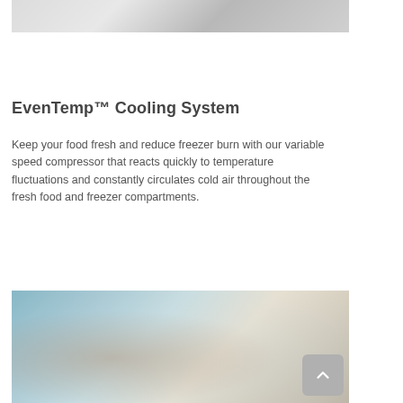[Figure (photo): Partial view of a kitchen or appliance scene, light gray/white tones, top portion of image cropped]
EvenTemp™ Cooling System
Keep your food fresh and reduce freezer burn with our variable speed compressor that reacts quickly to temperature fluctuations and constantly circulates cold air throughout the fresh food and freezer compartments.
[Figure (photo): A person (young woman/girl) drinking from a glass, kitchen background with shelves, warm and cool tones]